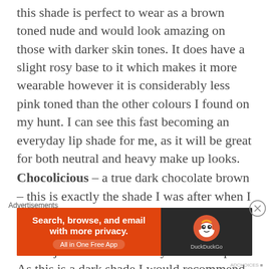this shade is perfect to wear as a brown toned nude and would look amazing on those with darker skin tones. It does have a slight rosy base to it which makes it more wearable however it is considerably less pink toned than the other colours I found on my hunt. I can see this fast becoming an everyday lip shade for me, as it will be great for both neutral and heavy make up looks.
Chocolicious – a true dark chocolate brown – this is exactly the shade I was after when I started my mission for brown lips on a budget. The creamy texture means this brown just slides beautifully over the lips. As this is a dark shade I would recommend
Advertisements
[Figure (other): DuckDuckGo advertisement banner: orange section with text 'Search, browse, and email with more privacy. All in One Free App' and dark section with DuckDuckGo duck logo]